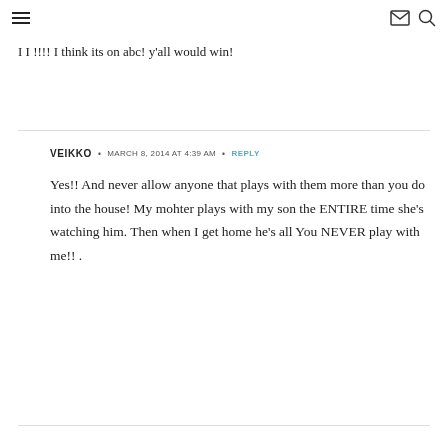Navigation menu, email icon, search icon
I I !!!! I think its on abc! y'all would win!
VEIKKO • MARCH 8, 2014 AT 4:39 AM • REPLY
Yes!! And never allow anyone that plays with them more than you do into the house! My mohter plays with my son the ENTIRE time she's watching him. Then when I get home he's all You NEVER play with me!! .